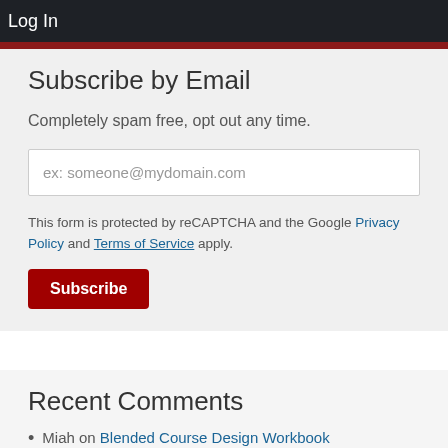Log In
Subscribe by Email
Completely spam free, opt out any time.
ex: someone@mydomain.com
This form is protected by reCAPTCHA and the Google Privacy Policy and Terms of Service apply.
Subscribe
Recent Comments
Miah on Blended Course Design Workbook